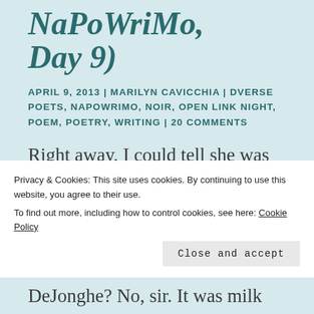(NaPoWriMo, Day 9)
APRIL 9, 2013 | MARILYN CAVICCHIA | DVERSE POETS, NAPOWRIMO, NOIR, OPEN LINK NIGHT, POEM, POETRY, WRITING | 20 COMMENTS
Right away, I could tell she was looking for something—
or someone. Maybe me. We locked peepers. Hers were
Privacy & Cookies: This site uses cookies. By continuing to use this website, you agree to their use.
To find out more, including how to control cookies, see here: Cookie Policy
Close and accept
DeJonghe? No, sir. It was milk